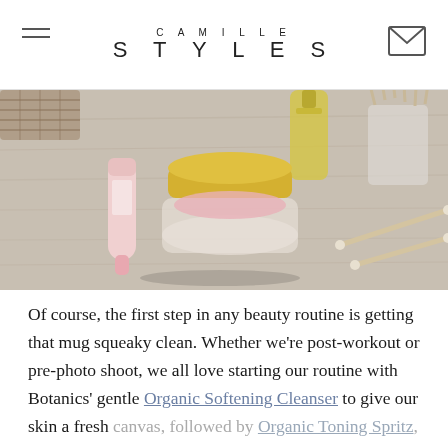CAMILLE STYLES
[Figure (photo): Beauty products including a pink tube, a gold-lidded cream jar, a yellow oil bottle, and cotton swabs arranged on a wood-grain surface.]
Of course, the first step in any beauty routine is getting that mug squeaky clean. Whether we're post-workout or pre-photo shoot, we all love starting our routine with Botanics' gentle Organic Softening Cleanser  to give our skin a fresh canvas, followed by Organic Toning Spritz, which is perfect to prep skin before applying makeup.